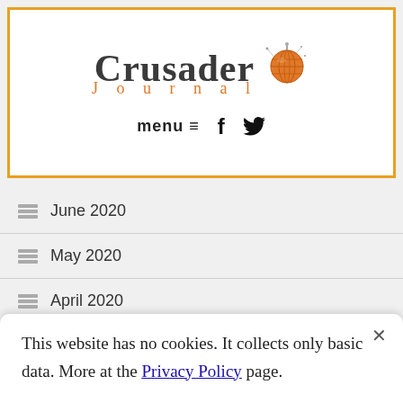[Figure (logo): Crusader Journal logo with orange globe icon and orange 'Journal' text]
menu ≡  f  🐦
June 2020
May 2020
April 2020
March 2020
February 2020
This website has no cookies. It collects only basic data. More at the Privacy Policy page.